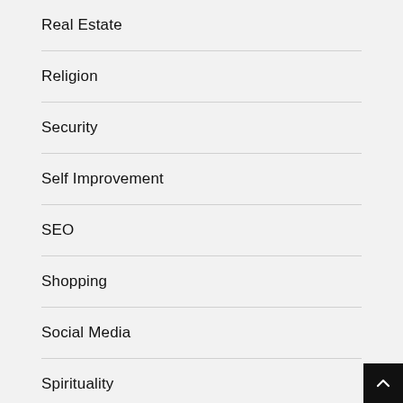Real Estate
Religion
Security
Self Improvement
SEO
Shopping
Social Media
Spirituality
Sports
Supply Chain Management Software